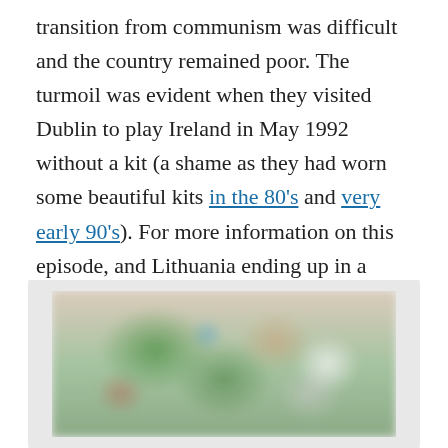transition from communism was difficult and the country remained poor. The turmoil was evident when they visited Dublin to play Ireland in May 1992 without a kit (a shame as they had worn some beautiful kits in the 80's and very early 90's). For more information on this episode, and Lithuania ending up in a similar situation away to Ireland the following year, check out this Museum of Jerseys piece.
[Figure (photo): Blurry photograph of a crowd, appears to show people in green and white clothing, likely at a football/soccer match.]